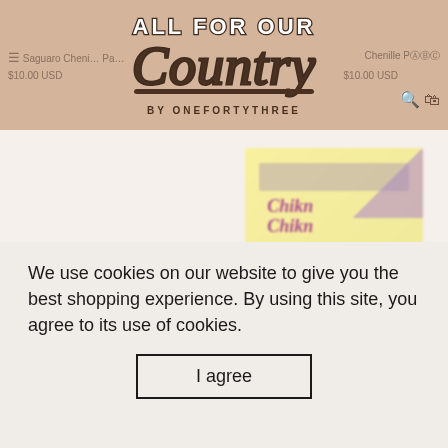ALL FOR OUR Country BY ONEFORTYTHREE
Saguaro Chenille Patch   Chenille Patch
$10.00 USD   $10.00 USD
[Figure (screenshot): Blurred product image showing a yellow cookbook cover with 'Chikn Chikn' text and chicken illustration]
$5.00 USD
We use cookies on our website to give you the best shopping experience. By using this site, you agree to its use of cookies.
I agree